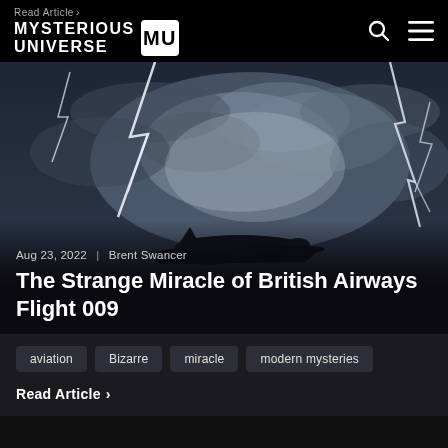Read Article > MYSTERIOUS UNIVERSE MU
[Figure (photo): Silhouette of a commercial airplane flying through a dramatic stormy sky with lightning bolts striking on both sides against dark clouds]
Aug 23, 2022  |  Brent Swancer
The Strange Miracle of British Airways Flight 009
aviation
Bizarre
miracle
modern mysteries
Read Article >